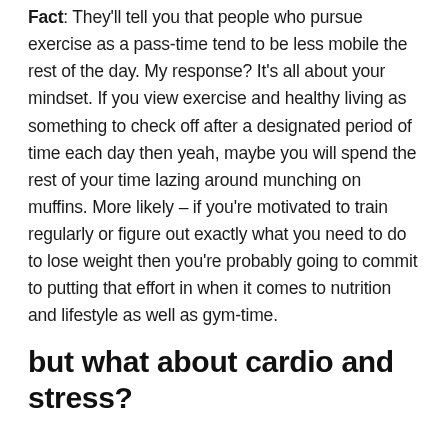Fact: They'll tell you that people who pursue exercise as a pass-time tend to be less mobile the rest of the day. My response? It's all about your mindset. If you view exercise and healthy living as something to check off after a designated period of time each day then yeah, maybe you will spend the rest of your time lazing around munching on muffins. More likely – if you're motivated to train regularly or figure out exactly what you need to do to lose weight then you're probably going to commit to putting that effort in when it comes to nutrition and lifestyle as well as gym-time.
but what about cardio and stress?